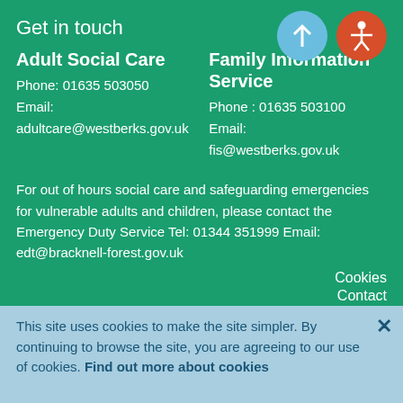Get in touch
Adult Social Care
Phone: 01635 503050
Email: adultcare@westberks.gov.uk
Family Information Service
Phone : 01635 503100
Email: fis@westberks.gov.uk
For out of hours social care and safeguarding emergencies for vulnerable adults and children, please contact the Emergency Duty Service Tel: 01344 351999 Email: edt@bracknell-forest.gov.uk
Cookies
Contact
This site uses cookies to make the site simpler. By continuing to browse the site, you are agreeing to our use of cookies. Find out more about cookies